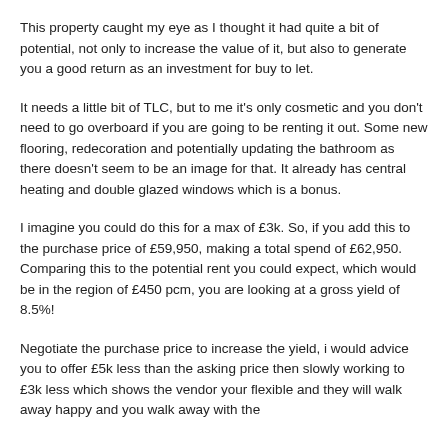This property caught my eye as I thought it had quite a bit of potential, not only to increase the value of it, but also to generate you a good return as an investment for buy to let.
It needs a little bit of TLC, but to me it's only cosmetic and you don't need to go overboard if you are going to be renting it out. Some new flooring, redecoration and potentially updating the bathroom as there doesn't seem to be an image for that. It already has central heating and double glazed windows which is a bonus.
I imagine you could do this for a max of £3k. So, if you add this to the purchase price of £59,950, making a total spend of £62,950. Comparing this to the potential rent you could expect, which would be in the region of £450 pcm, you are looking at a gross yield of 8.5%!
Negotiate the purchase price to increase the yield, i would advice you to offer £5k less than the asking price then slowly working to £3k less which shows the vendor your flexible and they will walk away happy and you walk away with the